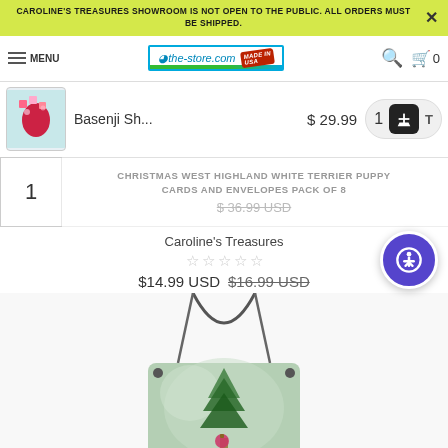CAROLINE'S TREASURES SHOWROOM IS NOT OPEN TO THE PUBLIC. ALL ORDERS MUST BE SHIPPED.
[Figure (screenshot): Website navigation bar with hamburger menu, MENU text, the-store.com logo with Made in USA stamp, search icon, and cart icon with 0 items]
[Figure (screenshot): Shopping cart item row showing a Basenji pillow product thumbnail, title 'Basenji Sh...', price $29.99, quantity selector showing 1, and add to cart button]
1   CHRISTMAS WEST HIGHLAND WHITE TERRIER PUPPY CARDS AND ENVELOPES PACK OF 8   $ 36.99 USD
Caroline's Treasures
☆☆☆☆☆
$14.99 USD $16.99 USD
[Figure (photo): Partial view of a Christmas wall hanging product showing a mint green rectangular plaque with a painted Christmas tree and ornament, suspended by a metal wire hanger with black brackets at corners]